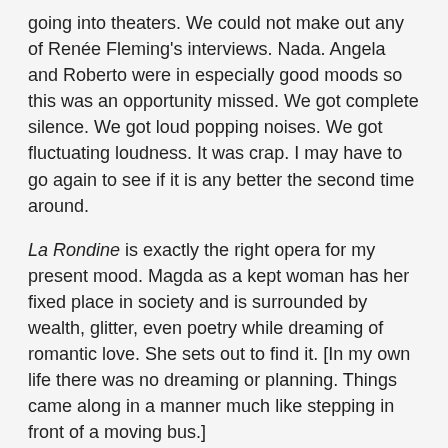going into theaters. We could not make out any of Renée Fleming's interviews. Nada. Angela and Roberto were in especially good moods so this was an opportunity missed. We got complete silence. We got loud popping noises. We got fluctuating loudness. It was crap. I may have to go again to see if it is any better the second time around.
La Rondine is exactly the right opera for my present mood. Magda as a kept woman has her fixed place in society and is surrounded by wealth, glitter, even poetry while dreaming of romantic love. She sets out to find it. [In my own life there was no dreaming or planning. Things came along in a manner much like stepping in front of a moving bus.]
Magda does not notice Ruggero when he comes to her house and sits next to him at the dance hall quite by accident. It seems to me that Roberto Alagna is exactly the sort of man one would meet by accident and fall madly in love with. But perhaps this merely reflects my own taste. Clearly he is ready for the moment of passion, ready to leap into romantic love. They find exactly the sort of perfect love anyone would wish for and find in the end that it has no